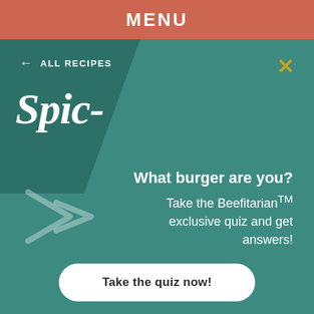MENU
← ALL RECIPES
Spic-
What burger are you? Take the Beefitarian™ exclusive quiz and get answers!
Take the quiz now!